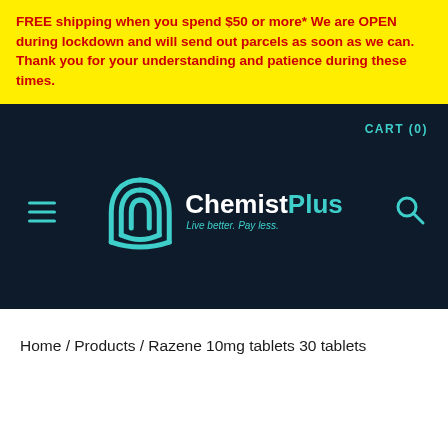FREE shipping when you spend $50 or more* We are OPEN during lockdown and will send out parcels as soon as we can. Thank you for your understanding and patience during these times.
[Figure (logo): ChemistPlus logo with teal fingerprint/shield icon and text 'Chemist' in white and 'Plus' in teal, tagline 'Live better. Pay less.' Navigation bar with hamburger menu, cart (0), and search icon on dark navy background.]
Home / Products / Razene 10mg tablets 30 tablets